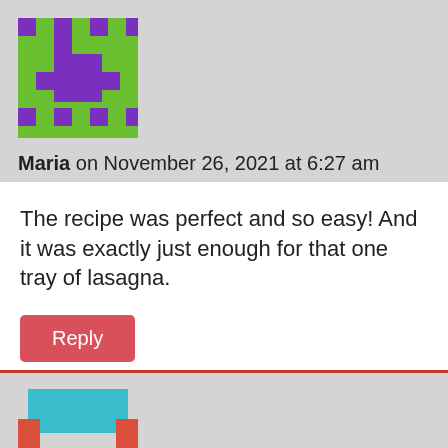[Figure (illustration): Pixel-art avatar with green background and purple squares pattern]
Maria on November 26, 2021 at 6:27 am
The recipe was perfect and so easy! And it was exactly just enough for that one tray of lasagna.
Reply
[Figure (illustration): Pixel-art avatar with teal and red pattern]
Sunnie on July 15, 2021 at 9:00 pm